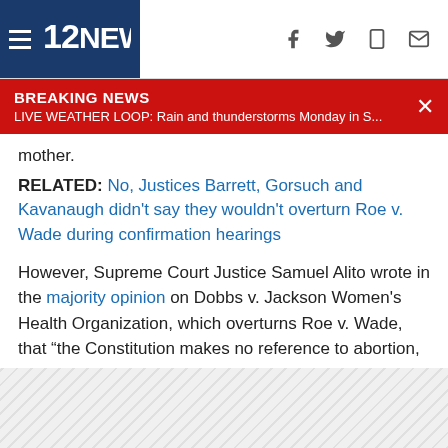12NEWS navigation bar with hamburger menu, logo, and social icons (f, twitter, phone, mail)
BREAKING NEWS
LIVE WEATHER LOOP: Rain and thunderstorms Monday in S...
mother.
RELATED: No, Justices Barrett, Gorsuch and Kavanaugh didn't say they wouldn't overturn Roe v. Wade during confirmation hearings
However, Supreme Court Justice Samuel Alito wrote in the majority opinion on Dobbs v. Jackson Women's Health Organization, which overturns Roe v. Wade, that “the Constitution makes no reference to abortion, and no such right is implicitly protected by any constitutional provision,” including the Fourteenth Amendment.